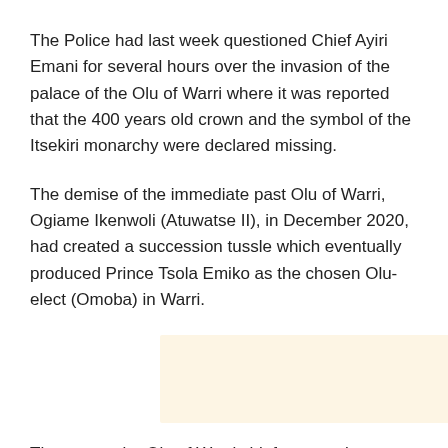The Police had last week questioned Chief Ayiri Emani for several hours over the invasion of the palace of the Olu of Warri where it was reported that the 400 years old crown and the symbol of the Itsekiri monarchy were declared missing.
The demise of the immediate past Olu of Warri, Ogiame Ikenwoli (Atuwatse II), in December 2020, had created a succession tussle which eventually produced Prince Tsola Emiko as the chosen Olu-elect (Omoba) in Warri.
[Figure (other): Advertisement placeholder box with light beige/cream background color]
The two senior Olu of Warri chiefs spent close to four hours at the zonal command headquarters of the police. They however declined to grant media interview.